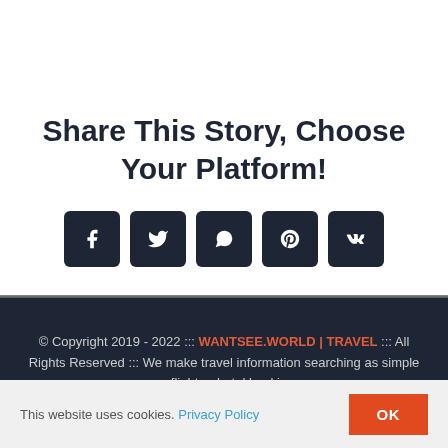Share This Story, Choose Your Platform!
[Figure (infographic): Five social media share buttons in dark rounded squares: Facebook (f), Twitter (bird), WhatsApp (phone), Pinterest (p), VK (vk)]
© Copyright 2019 - 2022 ::: WANTSEE.WORLD | TRAVEL ::: All Rights Reserved ::: We make travel information searching as simple as flight or hotel booking
This website uses cookies. Privacy Policy